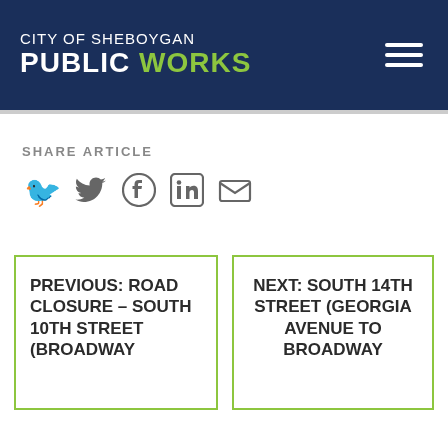CITY OF SHEBOYGAN PUBLIC WORKS
SHARE ARTICLE
[Figure (infographic): Social share icons: Twitter bird, Facebook f, LinkedIn in, email envelope]
PREVIOUS: ROAD CLOSURE – SOUTH 10TH STREET (BROADWAY
NEXT: SOUTH 14TH STREET (GEORGIA AVENUE TO BROADWAY